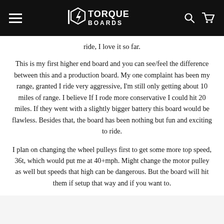TORQUE BOARDS
ride, I love it so far.
This is my first higher end board and you can see/feel the difference between this and a production board. My one complaint has been my range, granted I ride very aggressive, I'm still only getting about 10 miles of range. I believe If I rode more conservative I could hit 20 miles. If they went with a slightly bigger battery this board would be flawless. Besides that, the board has been nothing but fun and exciting to ride.
I plan on changing the wheel pulleys first to get some more top speed, 36t, which would put me at 40+mph. Might change the motor pulley as well but speeds that high can be dangerous. But the board will hit them if setup that way and if you want to.